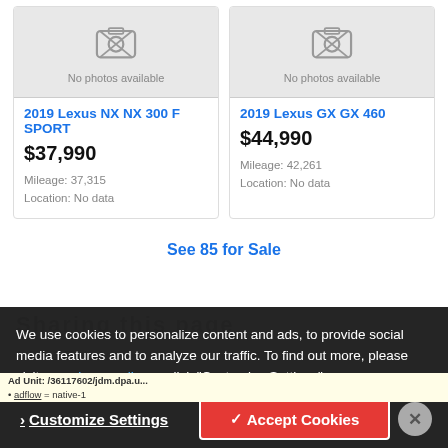[Figure (other): Car listing card - No photos available placeholder with camera icon, 2019 Lexus NX NX 300 F SPORT]
2019 Lexus NX NX 300 F SPORT
$37,990
Mileage: 37,315
Location: No data
[Figure (other): Car listing card - No photos available placeholder with camera icon, 2019 Lexus GX GX 460]
2019 Lexus GX GX 460
$44,990
Mileage: 42,261
Location: No data
See 85 for Sale
We use cookies to personalize content and ads, to provide social media media features and to analyze our traffic. To find out more, please visit our privacy policy or click "Customize Settings".
Ad Unit: /36117602/jdm.dpa.u...
Customize Settings
✓ Accept Cookies